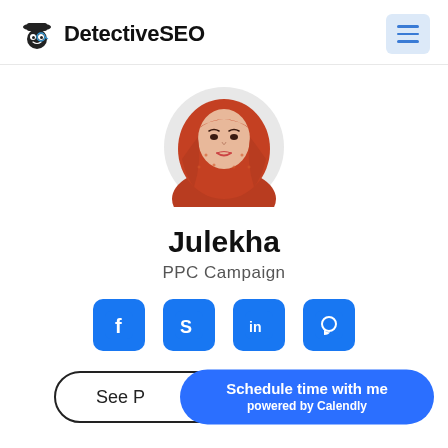DetectiveSEO
[Figure (photo): Circular profile photo of Julekha, a woman wearing a red/orange hijab, shown from shoulders up]
Julekha
PPC Campaign
[Figure (infographic): Row of four blue social media icon buttons: Facebook, Skype, LinkedIn, WhatsApp]
See P...
Schedule time with me powered by Calendly